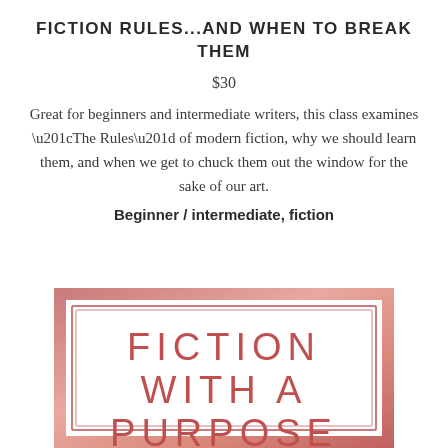FICTION RULES...AND WHEN TO BREAK THEM
$30
Great for beginners and intermediate writers, this class examines “The Rules” of modern fiction, why we should learn them, and when we get to chuck them out the window for the sake of our art.
Beginner / intermediate, fiction
[Figure (illustration): Book cover with pink/rose gradient background, double border rectangle, and text reading FICTION WITH A PURPOSE]